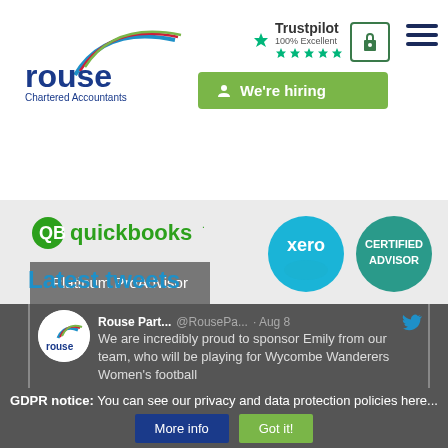[Figure (logo): Rouse Chartered Accountants logo - blue arc with red/green/blue lines, text rouse in blue, Chartered Accountants below]
[Figure (logo): Trustpilot 100% Excellent rating badge with green stars]
[Figure (logo): Lock icon in green bordered box]
[Figure (logo): Hamburger menu icon - three dark blue horizontal lines]
[Figure (logo): We're hiring green button with person icon]
[Figure (logo): QuickBooks logo with green QB icon]
[Figure (logo): Platinum ProAdvisor badge on grey background]
[Figure (logo): Xero certified advisor circular teal logos]
Latest tweets
Rouse Part... @RousePa... · Aug 8
We are incredibly proud to sponsor Emily from our team, who will be playing for Wycombe Wanderers Women's football
GDPR notice: You can see our privacy and data protection policies here...
More info
Got it!